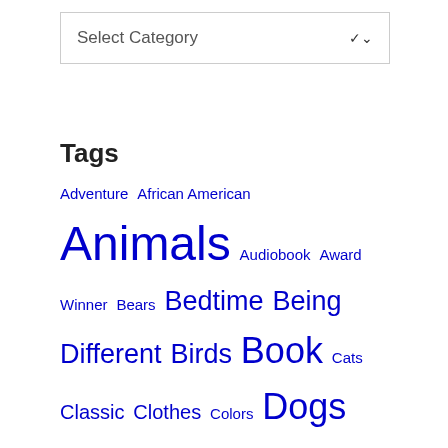[Figure (screenshot): Dropdown select box with label 'Select Category' and a chevron arrow on the right]
Tags
Adventure African American Animals Audiobook Award Winner Bears Bedtime Being Different Birds Book Cats Classic Clothes Colors Dogs Emotions Family Fantasy Fiction Food Foreign Culture Friendship Go Green History Holidays Humour Interactive Jobs Libraries or Books Mice Monsters Music Mystery New Baby Nonfiction On the Farm Picture Book